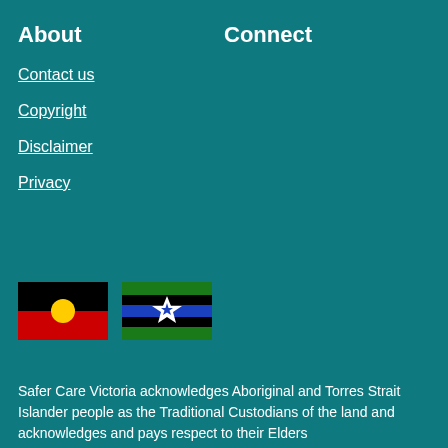About
Connect
Contact us
Copyright
Disclaimer
Privacy
[Figure (illustration): Aboriginal Flag and Torres Strait Islander Flag]
Safer Care Victoria acknowledges Aboriginal and Torres Strait Islander people as the Traditional Custodians of the land and acknowledges and pays respect to their Elders